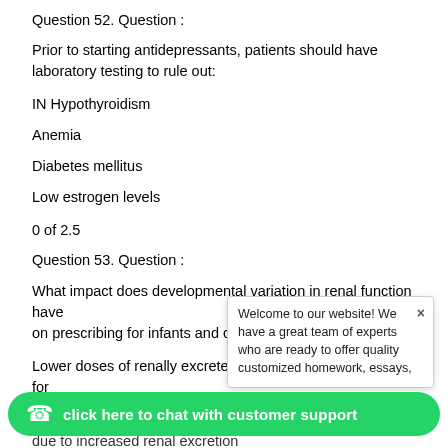Question 52. Question :
Prior to starting antidepressants, patients should have laboratory testing to rule out:
IN Hypothyroidism
Anemia
Diabetes mellitus
Low estrogen levels
0 of 2.5
Question 53. Question :
What impact does developmental variation in renal fu... on prescribing for infants and children?
Lower doses of renally excreted drugs may be prescri... infants younger than six months
due to increased renal excretion